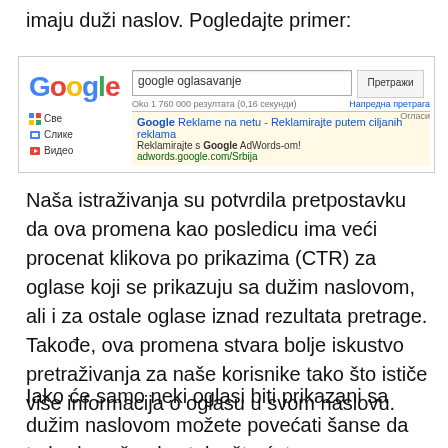imaju duži naslov. Pogledajte primer:
[Figure (screenshot): Google search screenshot showing a search for 'google oglasavanje' with one ad result for Google AdWords/Srbija]
Naša istraživanja su potvrdila pretpostavku da ova promena kao posledicu ima veći procenat klikova po prikazima (CTR) za oglase koji se prikazuju sa dužim naslovom, ali i za ostale oglase iznad rezultata pretrage. Takođe, ova promena stvara bolje iskustvo pretraživanja za naše korisnike tako što ističe više informacija o oglasu u svom naslovu.
Iako će samo neki oglasi biti prikazani sa dužim naslovom možete povećati šanse da to bude vaš oglas tako što ćete